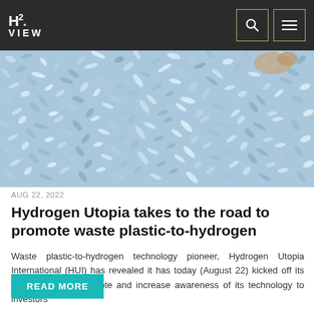H2 VIEW
[Figure (photo): Aerial or close-up view of shredded waste plastic material, showing a dense, colorful mix of small plastic pieces in blues, whites, and greens, with a hand visible in the upper right corner.]
AUG 22, 2022
Hydrogen Utopia takes to the road to promote waste plastic-to-hydrogen
Waste plastic-to-hydrogen technology pioneer, Hydrogen Utopia International (HUI) has revealed it has today (August 22) kicked off its first US tour to promote and increase awareness of its technology to investors
READ MORE